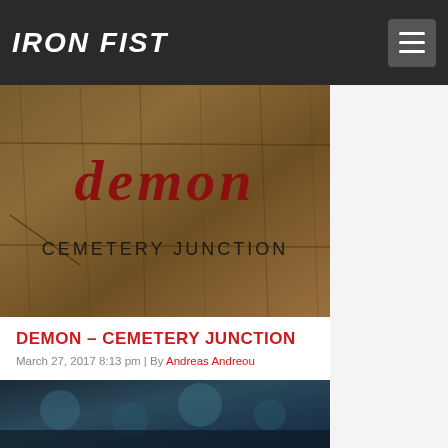IRON FIST
[Figure (photo): Album cover for Demon - Cemetery Junction: dark red gothic-style text 'demon' and 'CEMETERY JUNCTION' on a worn wooden board background]
DEMON – CEMETERY JUNCTION
March 27, 2017 8:13 pm | By Andreas Andreou
[Figure (photo): Partial view of a second image with dark blue/teal tones at the bottom of the page]